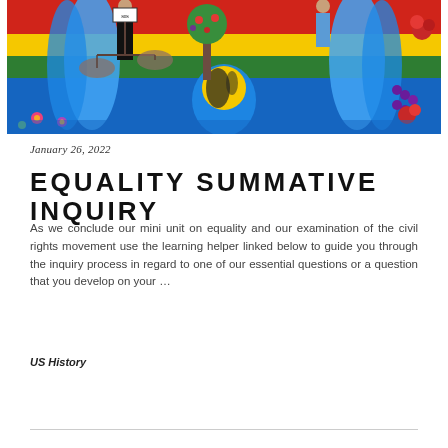[Figure (illustration): Colorful mural painting depicting figures holding scales of justice, a tree with fruits, hands holding a globe, flowers, and rainbow-striped background in red, yellow, green, blue, with vibrant decorative elements.]
January 26, 2022
EQUALITY SUMMATIVE INQUIRY
As we conclude our mini unit on equality and our examination of the civil rights movement use the learning helper linked below to guide you through the inquiry process in regard to one of our essential questions or a question that you develop on your …
US History